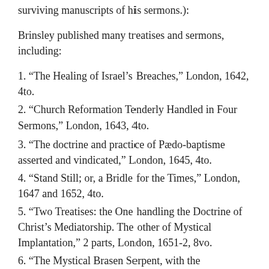surviving manuscripts of his sermons.):
Brinsley published many treatises and sermons, including:
1. “The Healing of Israel’s Breaches,” London, 1642, 4to.
2. “Church Reformation Tenderly Handled in Four Sermons,” London, 1643, 4to.
3. “The doctrine and practice of Pædo-baptisme asserted and vindicated,” London, 1645, 4to.
4. “Stand Still; or, a Bridle for the Times,” London, 1647 and 1652, 4to.
5. “Two Treatises: the One handling the Doctrine of Christ’s Mediatorship. The other of Mystical Implantation,” 2 parts, London, 1651-2, 8vo.
6. “The Mystical Brasen Serpent, with the Magnetical Vertue thereof; or, Christ exalted upon the Cross,” 2 parts, London, 1653, 8vo.
7. “Two Treatises. I. The Saints Communion with Jesus